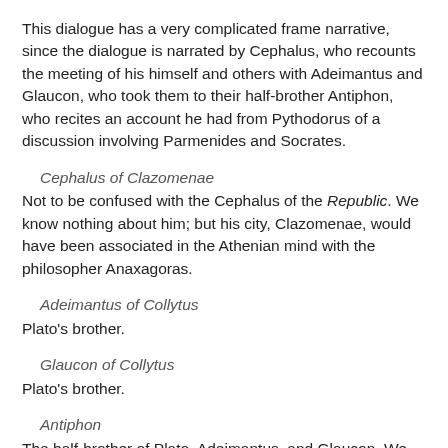This dialogue has a very complicated frame narrative, since the dialogue is narrated by Cephalus, who recounts the meeting of his himself and others with Adeimantus and Glaucon, who took them to their half-brother Antiphon, who recites an account he had from Pythodorus of a discussion involving Parmenides and Socrates.
Cephalus of Clazomenae
Not to be confused with the Cephalus of the Republic. We know nothing about him; but his city, Clazomenae, would have been associated in the Athenian mind with the philosopher Anaxagoras.
Adeimantus of Collytus
Plato's brother.
Glaucon of Collytus
Plato's brother.
Antiphon
The half-brother of Plato, Adeimantus, and Glaucon. We know essentially nothing about him, but Proclus Neil...